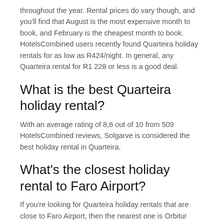throughout the year. Rental prices do vary though, and you'll find that August is the most expensive month to book, and February is the cheapest month to book. HotelsCombined users recently found Quarteira holiday rentals for as low as R424/night. In general, any Quarteira rental for R1 228 or less is a good deal.
What is the best Quarteira holiday rental?
With an average rating of 8,6 out of 10 from 509 HotelsCombined reviews, Solgarve is considered the best holiday rental in Quarteira.
What's the closest holiday rental to Faro Airport?
If you're looking for Quarteira holiday rentals that are close to Faro Airport, then the nearest one is Orbitur Quarteira which is 12,2 km away.
Are there Quarteira holiday rentals with “beachfront” listed as an amenity?
Yes, 1 Quarteira holiday rental lists “beachfront” as an amenity in